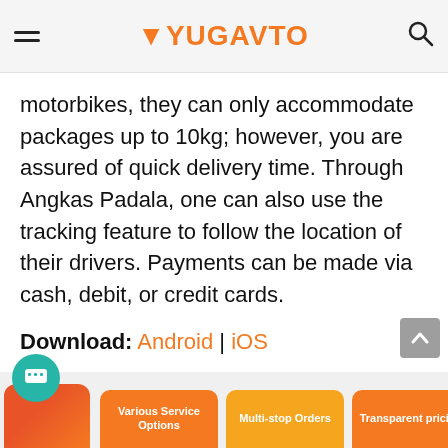YUGAVTO (logo/header navigation)
motorbikes, they can only accommodate packages up to 10kg; however, you are assured of quick delivery time. Through Angkas Padala, one can also use the tracking feature to follow the location of their drivers. Payments can be made via cash, debit, or credit cards.
Download: Android | iOS
Lalamove
[Figure (screenshot): Bottom strip showing Lalamove app feature cards: Various Service Options, Multi-stop Orders, Transparent pricing]